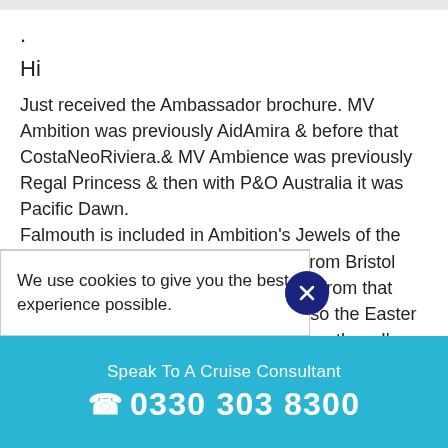.
Hi
Just received the Ambassador brochure. MV Ambition was previously AidAmira & before that CostaNeoRiviera.& MV Ambience was previously Regal Princess & then with P&O Australia it was Pacific Dawn.
Falmouth is included in Ambition's Jewels of the Mediterranean 16 September 2023 from Bristol which seems a nice option for people from that area who don't want to fly. There's also the Easter British Isles Discovery ... be others I've
We use cookies to give you the best experience possible.
Speak To A Cruise Consultant
0330 303 8300